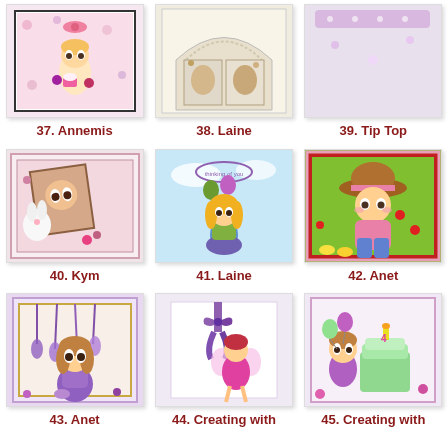[Figure (photo): Handmade card with cute big-eyed girl character holding cupcakes, pink bow, floral background]
37. Annemis
[Figure (photo): Handmade card or mini album with multiple panels, floral and vintage style]
38. Laine
[Figure (photo): Purple and white polka dot paper pinwheels/flowers decorative craft]
39. Tip Top
[Figure (photo): Handmade card with big-eyed girl and white bunny rabbit, pink floral background]
40. Kym
[Figure (photo): Handmade card with colored pencil drawing of girl with balloons, sentiment saying thinking of you]
41. Laine
[Figure (photo): Handmade card with cute big-eyed girl in hat standing in garden with flowers]
42. Anet
[Figure (photo): Handmade card with big-eyed girl sitting with purple wisteria hanging flowers]
43. Anet
[Figure (photo): Handmade card with fairy girl in pink/purple dress with purple ribbon bow on front]
44. Creating with
[Figure (photo): Handmade birthday card with girl in purple dress with birthday cake and balloons]
45. Creating with